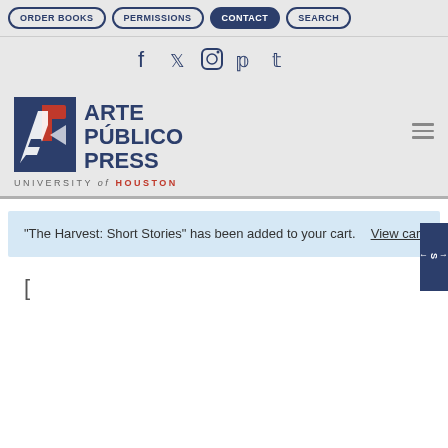ORDER BOOKS | PERMISSIONS | CONTACT | SEARCH
[Figure (logo): Arte Público Press logo with navigation buttons and social media icons (Facebook, Twitter, Instagram, Pinterest, Tumblr). Logo shows AP monogram in red/white/navy square, with ARTE PÚBLICO PRESS text and UNIVERSITY of HOUSTON subtitle.]
"The Harvest: Short Stories" has been added to your cart.
View cart
[